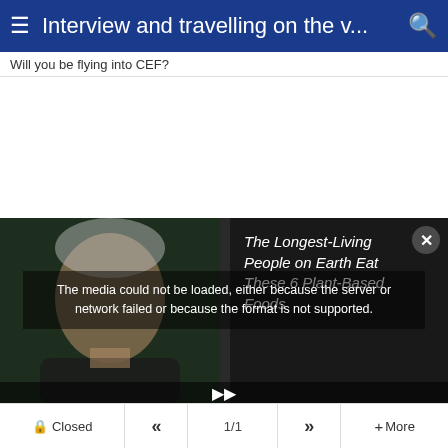Interview and travelling on the v...
Will you be flying into CEF?
[Figure (screenshot): White empty content area with a media player overlay at the bottom. The media player shows a dark background with a person's face on the left side, an error message overlay reading 'The media could not be loaded, either because the server or network failed or because the format is not supported.', and on the right side an article suggestion titled 'The Longest-Living People on Earth Eat These 6 Plant-Based Foods' with a close button.]
Closed  «  1/1  »  + More